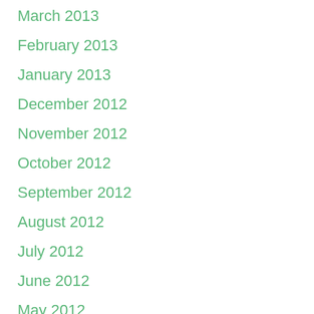March 2013
February 2013
January 2013
December 2012
November 2012
October 2012
September 2012
August 2012
July 2012
June 2012
May 2012
April 2012
March 2012
February 2012
January 2012
December 2011